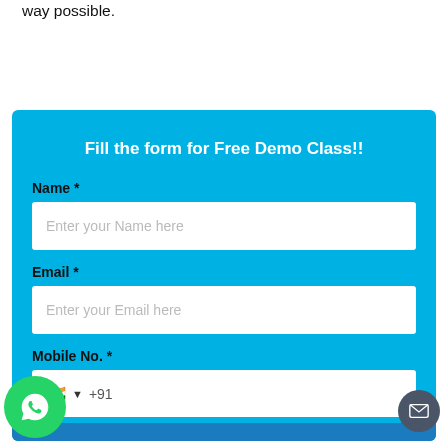way possible.
Fill the form for Free Demo Class!!
Name *
Enter your Name here
Email *
Enter your Email here
Mobile No. *
+91